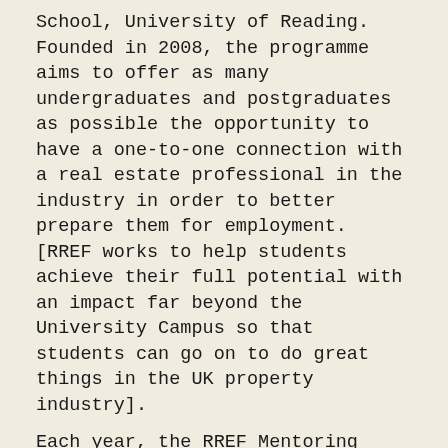School, University of Reading. Founded in 2008, the programme aims to offer as many undergraduates and postgraduates as possible the opportunity to have a one-to-one connection with a real estate professional in the industry in order to better prepare them for employment. [RREF works to help students achieve their full potential with an impact far beyond the University Campus so that students can go on to do great things in the UK property industry].
Each year, the RREF Mentoring Awards recognise the exceptional commitment, enthusiasm and proactivity of mentors and mentees involved. The award winners are celebrated at the RREF Recognition Evening.
Emily Bartholomew, Programme Delivery Officer for RREF said: “It was a very competitive contest this year with a large number of nominations, but Jack’s commitment and enthusiasm for the programme combined with his determination to help his mentee